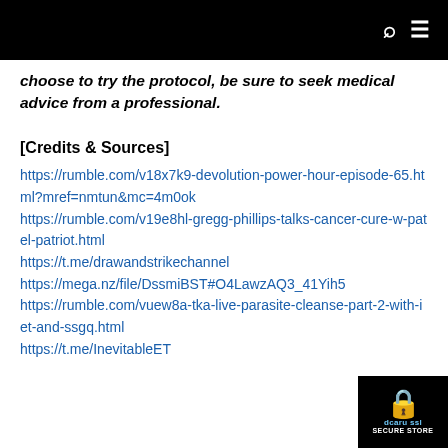🔍 ☰
choose to try the protocol, be sure to seek medical advice from a professional.
[Credits & Sources]
https://rumble.com/v18x7k9-devolution-power-hour-episode-65.html?mref=nmtun&mc=4m0ok
https://rumble.com/v19e8hl-gregg-phillips-talks-cancer-cure-w-patel-patriot.html
https://t.me/drawandstrikechannel
https://mega.nz/file/DssmiBST#O4LawzAQ3_41Yih5
https://rumble.com/vuew8a-tka-live-parasite-cleanse-part-2-with-iet-and-ssgq.html
https://t.me/InevitableET